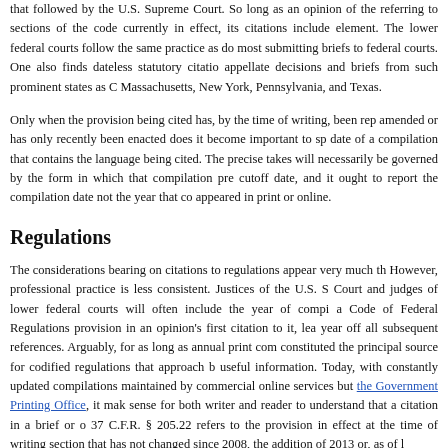that followed by the U.S. Supreme Court. So long as an opinion of the referring to sections of the code currently in effect, its citations include element. The lower federal courts follow the same practice as do most submitting briefs to federal courts. One also finds dateless statutory citatio appellate decisions and briefs from such prominent states as C Massachusetts, New York, Pennsylvania, and Texas.
Only when the provision being cited has, by the time of writing, been rep amended or has only recently been enacted does it become important to sp date of a compilation that contains the language being cited. The precise takes will necessarily be governed by the form in which that compilation pre cutoff date, and it ought to report the compilation date not the year that co appeared in print or online.
Regulations
The considerations bearing on citations to regulations appear very much th However, professional practice is less consistent. Justices of the U.S. S Court and judges of lower federal courts will often include the year of compi a Code of Federal Regulations provision in an opinion's first citation to it, lea year off all subsequent references. Arguably, for as long as annual print com constituted the principal source for codified regulations that approach b useful information. Today, with constantly updated compilations maintained by commercial online services but the Government Printing Office, it mak sense for both writer and reader to understand that a citation in a brief or o 37 C.F.R. § 205.22 refers to the provision in effect at the time of writing section that has not changed since 2008, the addition of 2013 or, as of l